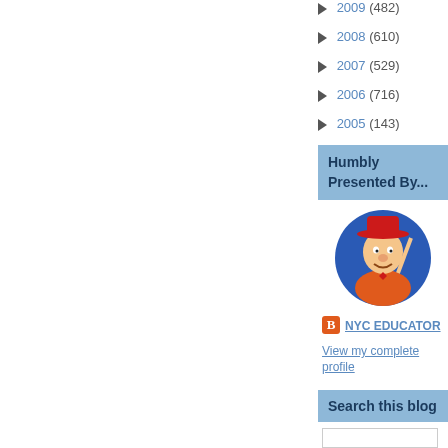► 2009 (482)
► 2008 (610)
► 2007 (529)
► 2006 (716)
► 2005 (143)
Humbly Presented By...
[Figure (illustration): Cartoon character in cowboy hat on blue circular background]
NYC EDUCATOR
View my complete profile
Search this blog